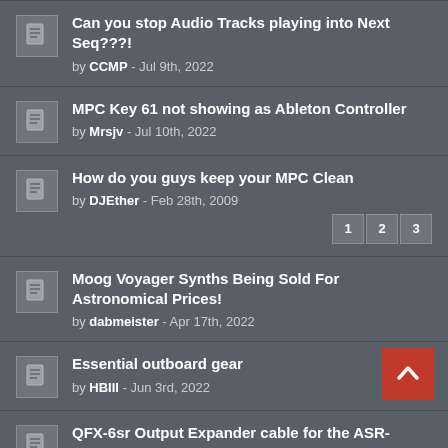Can you stop Audio Tracks playing into Next Seq???! by CCMP - Jul 9th, 2022
MPC Key 61 not showing as Ableton Controller by Mrsjv - Jul 10th, 2022
How do you guys keep your MPC Clean by DJEther - Feb 28th, 2009 [pages: 1 2 3]
Moog Voyager Synths Being Sold For Astronomical Prices! by dabmeister - Apr 17th, 2022
Essential outboard gear by HBIII - Jun 3rd, 2022
QFX-6sr Output Expander cable for the ASR-